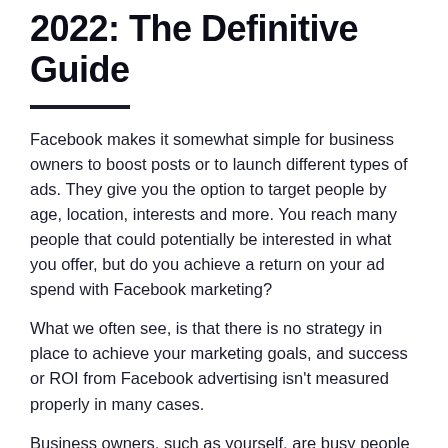2022: The Definitive Guide
Facebook makes it somewhat simple for business owners to boost posts or to launch different types of ads. They give you the option to target people by age, location, interests and more. You reach many people that could potentially be interested in what you offer, but do you achieve a return on your ad spend with Facebook marketing?
What we often see, is that there is no strategy in place to achieve your marketing goals, and success or ROI from Facebook advertising isn't measured properly in many cases.
Business owners, such as yourself, are busy people and have to deal with all sorts of things on day-to-day basis. If you are time poor, it's advisable to engage an